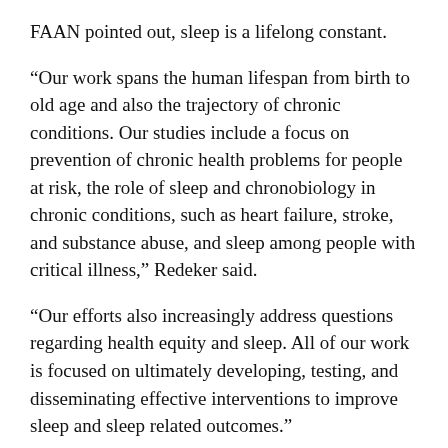FAAN pointed out, sleep is a lifelong constant.
“Our work spans the human lifespan from birth to old age and also the trajectory of chronic conditions. Our studies include a focus on prevention of chronic health problems for people at risk, the role of sleep and chronobiology in chronic conditions, such as heart failure, stroke, and substance abuse, and sleep among people with critical illness,” Redeker said.
“Our efforts also increasingly address questions regarding health equity and sleep. All of our work is focused on ultimately developing, testing, and disseminating effective interventions to improve sleep and sleep related outcomes.”
Redeker agreed with frequent collaborator Dr. Klar Yaggi, MD, MPH, BA that the study of sleep is an